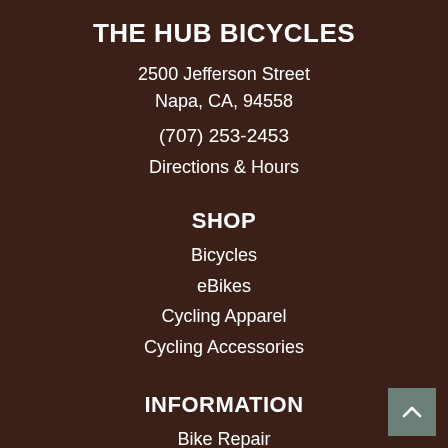THE HUB BICYCLES
2500 Jefferson Street
Napa, CA, 94558
(707) 253-2453
Directions & Hours
SHOP
Bicycles
eBikes
Cycling Apparel
Cycling Accessories
INFORMATION
Bike Repair